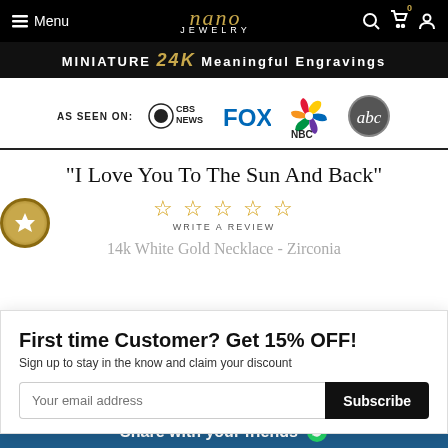Menu | nano JEWELRY | Search | Cart | Account
MINIATURE 24K Meaningful Engravings
[Figure (logo): As Seen On: CBS News, FOX, NBC, ABC logos]
"I Love You To The Sun And Back"
WRITE A REVIEW
14k White Gold Necklace - Zirconia
First time Customer? Get 15% OFF! Sign up to stay in the know and claim your discount
Share with your friends